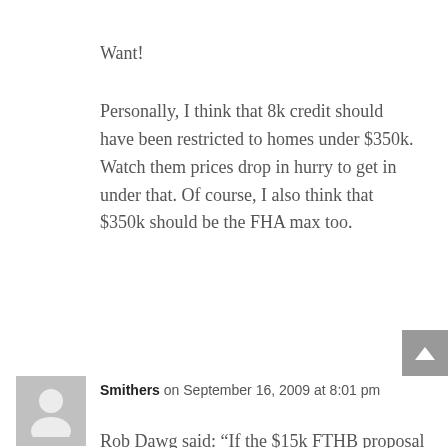Want!
Personally, I think that 8k credit should have been restricted to homes under $350k. Watch them prices drop in hurry to get in under that. Of course, I also think that $350k should be the FHA max too.
Smithers on September 16, 2009 at 8:01 pm
Rob Dawg said: “If the $15k FTHB proposal passes my kid in college is